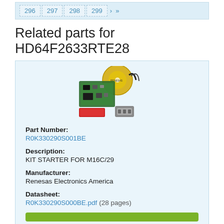296  297  298  299  >  >>
Related parts for HD64F2633RTE28
[Figure (photo): Product image of a starter kit including a circuit board, CD/DVD disc, cables, and accessories for M16C/29]
Part Number:
R0K330290S001BE
Description:
KIT STARTER FOR M16C/29
Manufacturer:
Renesas Electronics America
Datasheet:
R0K330290S000BE.pdf  (28 pages)